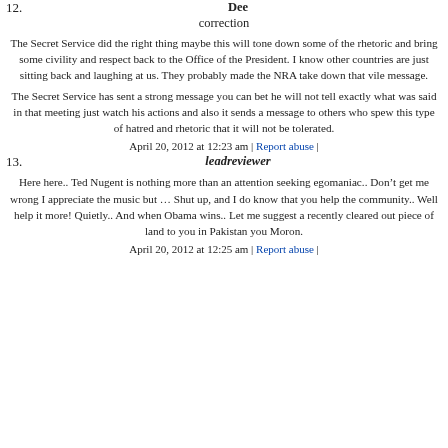12. Dee
correction
The Secret Service did the right thing maybe this will tone down some of the rhetoric and bring some civility and respect back to the Office of the President. I know other countries are just sitting back and laughing at us. They probably made the NRA take down that vile message.
The Secret Service has sent a strong message you can bet he will not tell exactly what was said in that meeting just watch his actions and also it sends a message to others who spew this type of hatred and rhetoric that it will not be tolerated.
April 20, 2012 at 12:23 am | Report abuse |
13. leadreviewer
Here here.. Ted Nugent is nothing more than an attention seeking egomaniac.. Don’t get me wrong I appreciate the music but … Shut up, and I do know that you help the community.. Well help it more! Quietly.. And when Obama wins.. Let me suggest a recently cleared out piece of land to you in Pakistan you Moron.
April 20, 2012 at 12:25 am | Report abuse |